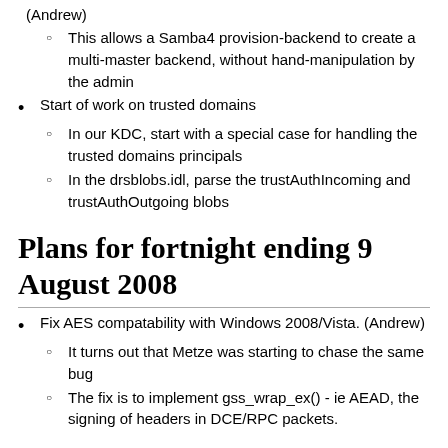(Andrew)
This allows a Samba4 provision-backend to create a multi-master backend, without hand-manipulation by the admin
Start of work on trusted domains
In our KDC, start with a special case for handling the trusted domains principals
In the drsblobs.idl, parse the trustAuthIncoming and trustAuthOutgoing blobs
Plans for fortnight ending 9 August 2008
Fix AES compatability with Windows 2008/Vista. (Andrew)
It turns out that Metze was starting to chase the same bug
The fix is to implement gss_wrap_ex() - ie AEAD, the signing of headers in DCE/RPC packets.